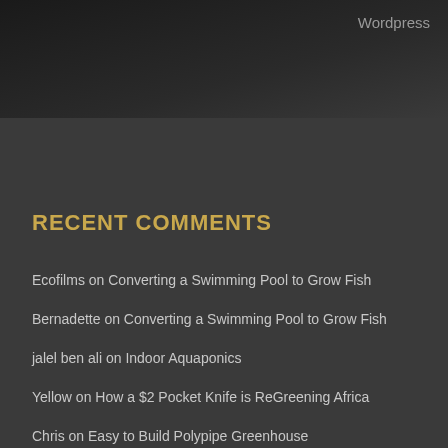Wordpress
RECENT COMMENTS
Ecofilms on Converting a Swimming Pool to Grow Fish
Bernadette on Converting a Swimming Pool to Grow Fish
jalel ben ali on Indoor Aquaponics
Yellow on How a $2 Pocket Knife is ReGreening Africa
Chris on Easy to Build Polypipe Greenhouse